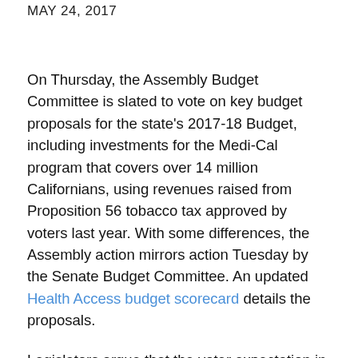MAY 24, 2017
On Thursday, the Assembly Budget Committee is slated to vote on key budget proposals for the state's 2017-18 Budget, including investments for the Medi-Cal program that covers over 14 million Californians, using revenues raised from Proposition 56 tobacco tax approved by voters last year. With some differences, the Assembly action mirrors action Tuesday by the Senate Budget Committee. An updated Health Access budget scorecard details the proposals.
Legislators argue that the voter expectation in